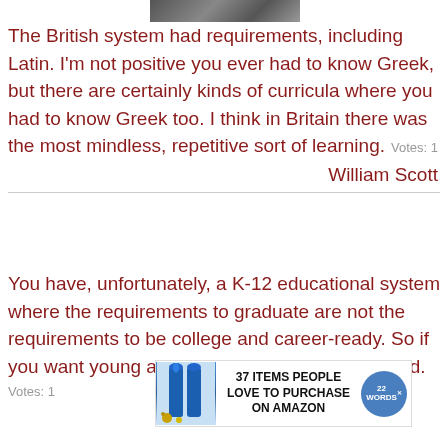[Figure (photo): Partial photo strip at top of page showing people]
The British system had requirements, including Latin. I'm not positive you ever had to know Greek, but there are certainly kinds of curricula where you had to know Greek too. I think in Britain there was the most mindless, repetitive sort of learning.   Votes: 1
William Scott
You have, unfortunately, a K-12 educational system where the requirements to graduate are not the requirements to be college and career-ready. So if you want young adults who are college and career-ready, the K-12 system right now does not have that as its standard.
Votes: 1